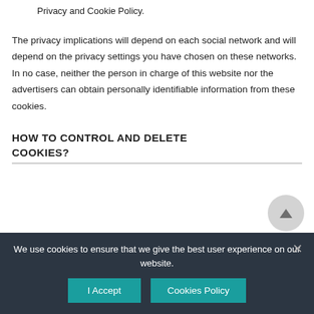Privacy and Cookie Policy.
The privacy implications will depend on each social network and will depend on the privacy settings you have chosen on these networks. In no case, neither the person in charge of this website nor the advertisers can obtain personally identifiable information from these cookies.
HOW TO CONTROL AND DELETE COOKIES?
We use cookies to ensure that we give the best user experience on our website.